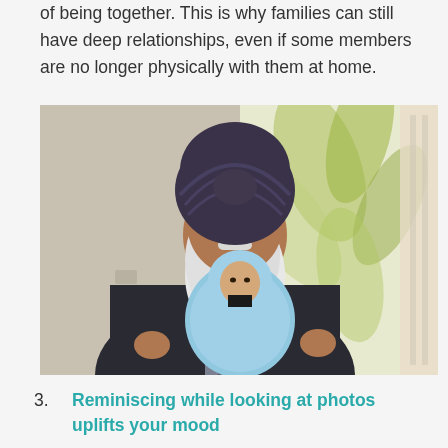of being together. This is why families can still have deep relationships, even if some members are no longer physically with them at home.
[Figure (photo): An elderly Sikh man wearing a dark purple turban and dark suit with a long white beard, holding a newborn baby wrapped in a light blue blanket and hood, standing in front of a floral wallpaper background.]
3. Reminiscing while looking at photos uplifts your mood